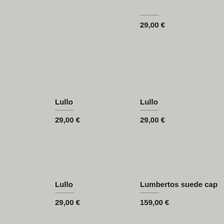29,00 €
Lullo
29,00 €
Lullo
29,00 €
Lullo
29,00 €
Lumbertos suede cap
159,00 €